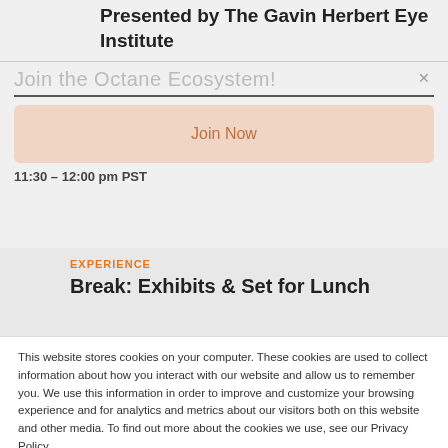Presented by The Gavin Herbert Eye Institute
Join the Octane Ecosystem!
Join Now
11:30 – 12:00 pm PST
EXPERIENCE
Break: Exhibits & Set for Lunch
This website stores cookies on your computer. These cookies are used to collect information about how you interact with our website and allow us to remember you. We use this information in order to improve and customize your browsing experience and for analytics and metrics about our visitors both on this website and other media. To find out more about the cookies we use, see our Privacy Policy.
Accept